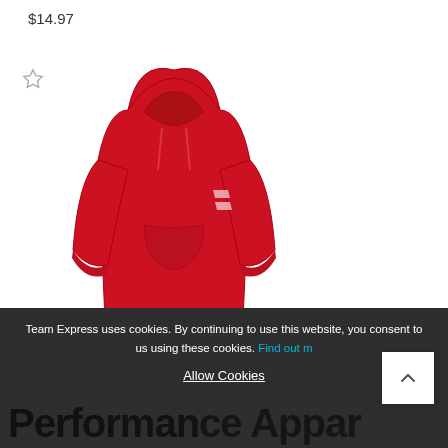$14.97
[Figure (photo): Red Adidas mens fleece hoodie on white background]
Adidas Mens Fleece Hoodie
$34.95
Team Express uses cookies. By continuing to use this website, you consent to us using these cookies. Find out more
Allow Cookies
Performance Apparel